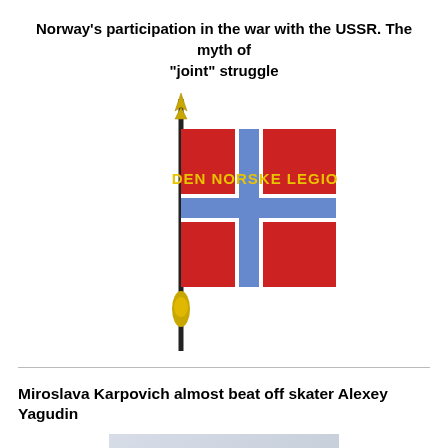Norway's participation in the war with the USSR. The myth of "joint" struggle
[Figure (illustration): Den Norske Legion flag on a gold-tipped black pole. The flag shows the Norwegian cross design in red, white and blue with the text 'DEN NORSKE LEGION' in gold letters on the upper portion.]
Miroslava Karpovich almost beat off skater Alexey Yagudin
[Figure (photo): Portrait photo of a dark-haired woman with intense expression, wearing dark clothing, against a light blurred background.]